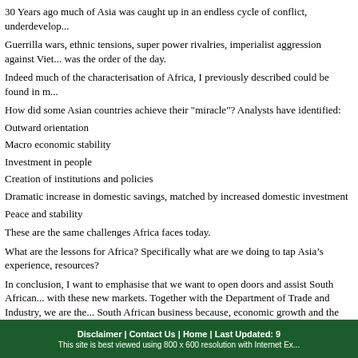30 Years ago much of Asia was caught up in an endless cycle of conflict, underdevelop...
Guerrilla wars, ethnic tensions, super power rivalries, imperialist aggression against Viet... was the order of the day.
Indeed much of the characterisation of Africa, I previously described could be found in m...
How did some Asian countries achieve their "miracle"? Analysts have identified:
Outward orientation
Macro economic stability
Investment in people
Creation of institutions and policies
Dramatic increase in domestic savings, matched by increased domestic investment
Peace and stability
These are the same challenges Africa faces today.
What are the lessons for Africa? Specifically what are we doing to tap Asia’s experience, resources?
In conclusion, I want to emphasise that we want to open doors and assist South African... with these new markets. Together with the Department of Trade and Industry, we are the... South African business because, economic growth and the creation of jobs in South Afric... aspect of our foreign policy objectives.
Together, in genuine partnership, we can make South Africa and the continent of Africa a...
Thank you.
Disclaimer | Contact Us | Home | Last Updated: 9... This site is best viewed using 800 x 600 resolution with Internet Ex...